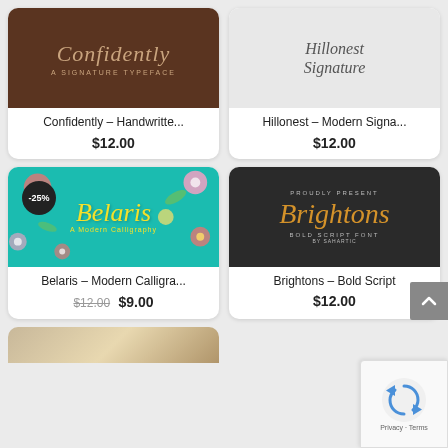[Figure (illustration): Product card image for Confidently font - dark chocolate brown background with handwritten script text 'Confidently' in gold/beige color]
Confidently – Handwritte...
$12.00
[Figure (illustration): Product card image for Hillonest font - light grey background with elegant thin script text 'Hillonest Signature']
Hillonest – Modern Signa...
$12.00
[Figure (illustration): Product card image for Belaris font - teal background with colorful flowers and yellow calligraphic script 'Belaris' with -25% badge]
Belaris – Modern Calligra...
$12.00 $9.00
[Figure (illustration): Product card image for Brightons font - dark smoky background with gold script 'Brightons' and text 'BOLD SCRIPT FONT']
Brightons – Bold Script
$12.00